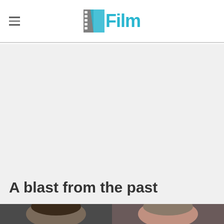/Film
A blast from the past
[Figure (photo): Two people photographed partially visible at the bottom of the page]